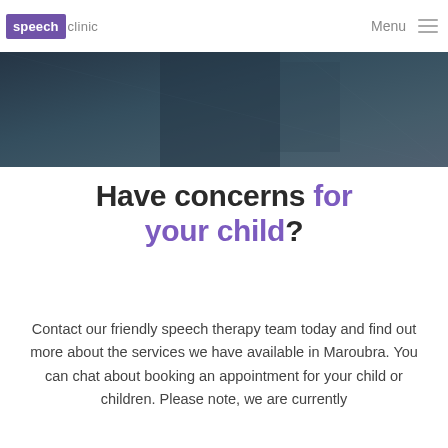speech clinic  Menu
[Figure (photo): Dark blue-grey hero background image, partially visible, appears to show a blurred indoor or shadowy scene]
Have concerns for your child?
Contact our friendly speech therapy team today and find out more about the services we have available in Maroubra. You can chat about booking an appointment for your child or children. Please note, we are currently